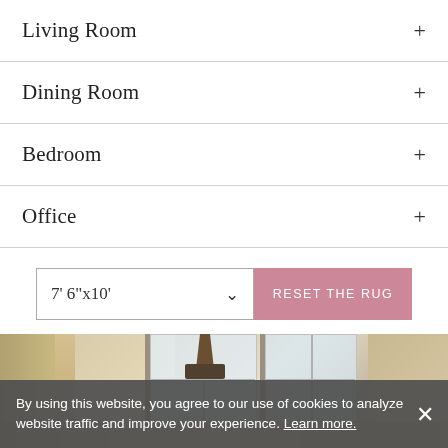Living Room +
Dining Room +
Bedroom +
Office +
7' 6"x10'
RESET THE RUG
[Figure (photo): Interior room photo showing a foyer or living space with arched doorways, chandelier, and large windows with natural light.]
By using this website, you agree to our use of cookies to analyze website traffic and improve your experience. Learn more.